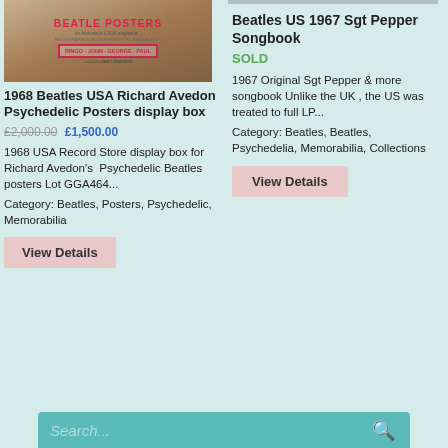[Figure (photo): Book cover for 'Beatle Posters' showing text RINGO JOHN GEORGE PAUL and the Beatlebanner, with pink/red decorative border]
1968 Beatles USA Richard Avedon Psychedelic Posters display box
£2,000.00 £1,500.00
1968 USA Record Store display box for Richard Avedon's  Psychedelic Beatles posters Lot GGA464...
Category: Beatles, Posters, Psychedelic, Memorabilia
View Details
Beatles US 1967 Sgt Pepper Songbook
SOLD
1967 Original Sgt Pepper & more songbook Unlike the UK , the US was treated to full LP...
Category: Beatles, Beatles, Psychedelia, Memorabilia, Collections
View Details